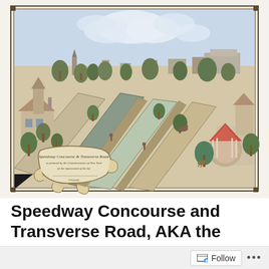[Figure (illustration): Historical illustrated bird's-eye view engraving of Speedway Concourse and Transverse Road. Shows buildings, trees, roads, a roundabout or gazebo structure on the right, and a decorative cartouche/title banner in the lower left. Colored in muted tones of blue, green, tan, and red-brown. Bordered by a double-line rectangular frame.]
Speedway Concourse and Transverse Road, AKA the
Follow ...